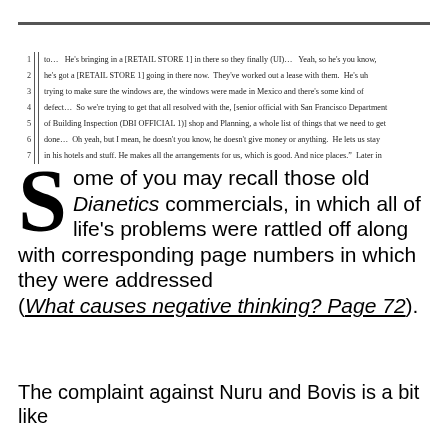1 to… He's bringing in a [RETAIL STORE 1] in there so they finally (UI)… Yeah, so he's you know, 2 he's got a [RETAIL STORE 1] going in there now. They've worked out a lease with them. He's uh 3 trying to make sure the windows are, the windows were made in Mexico and there's some kind of 4 defect… So we're trying to get that all resolved with the, [senior official with San Francisco Department 5 of Building Inspection (DBI OFFICIAL 1)] shop and Planning, a whole list of things that we need to get 6 done… Oh yeah, but I mean, he doesn't you know, he doesn't give money or anything. He lets us stay 7 in his hotels and stuff. He makes all the arrangements for us, which is good. And nice places." Later in
Some of you may recall those old Dianetics commercials, in which all of life's problems were rattled off along with corresponding page numbers in which they were addressed (What causes negative thinking? Page 72).
The complaint against Nuru and Bovis is a bit like